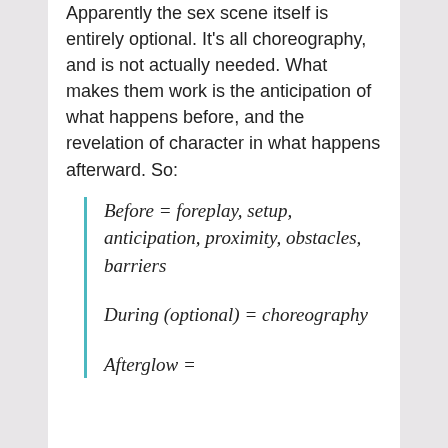Apparently the sex scene itself is entirely optional. It's all choreography, and is not actually needed. What makes them work is the anticipation of what happens before, and the revelation of character in what happens afterward. So:
Before = foreplay, setup, anticipation, proximity, obstacles, barriers
During (optional) = choreography
Afterglow =